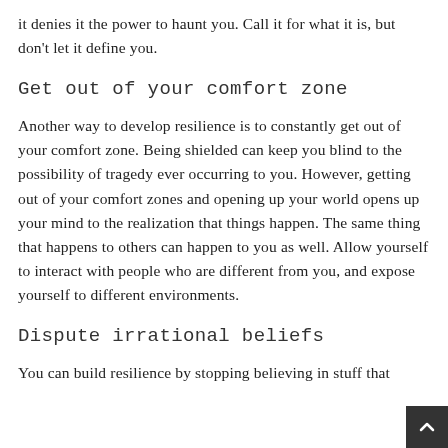it denies it the power to haunt you. Call it for what it is, but don't let it define you.
Get out of your comfort zone
Another way to develop resilience is to constantly get out of your comfort zone. Being shielded can keep you blind to the possibility of tragedy ever occurring to you. However, getting out of your comfort zones and opening up your world opens up your mind to the realization that things happen. The same thing that happens to others can happen to you as well. Allow yourself to interact with people who are different from you, and expose yourself to different environments.
Dispute irrational beliefs
You can build resilience by stopping believing in stuff that